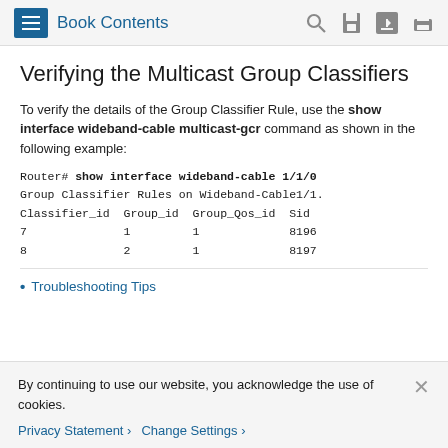Book Contents
Verifying the Multicast Group Classifiers
To verify the details of the Group Classifier Rule, use the show interface wideband-cable multicast-gcr command as shown in the following example:
Router# show interface wideband-cable 1/1/0
Group Classifier Rules on Wideband-Cable1/1.
Classifier_id  Group_id  Group_Qos_id  Sid
7              1         1             8196
8              2         1             8197
Troubleshooting Tips
By continuing to use our website, you acknowledge the use of cookies.
Privacy Statement > Change Settings >